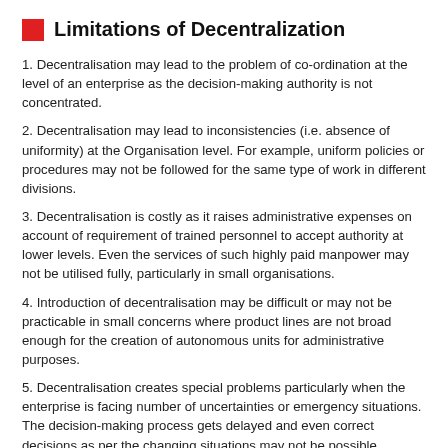Limitations of Decentralization
1. Decentralisation may lead to the problem of co-ordination at the level of an enterprise as the decision-making authority is not concentrated.
2. Decentralisation may lead to inconsistencies (i.e. absence of uniformity) at the Organisation level. For example, uniform policies or procedures may not be followed for the same type of work in different divisions.
3. Decentralisation is costly as it raises administrative expenses on account of requirement of trained personnel to accept authority at lower levels. Even the services of such highly paid manpower may not be utilised fully, particularly in small organisations.
4. Introduction of decentralisation may be difficult or may not be practicable in small concerns where product lines are not broad enough for the creation of autonomous units for administrative purposes.
5. Decentralisation creates special problems particularly when the enterprise is facing number of uncertainties or emergency situations. The decision-making process gets delayed and even correct decisions as per the changing situations may not be possible.